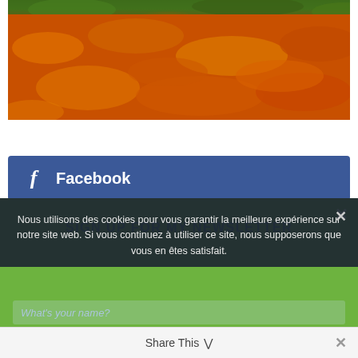[Figure (photo): Autumn fallen leaves (orange, red, yellow) carpeting the ground with green moss on rocks in the background]
Facebook
Twitter
SIGN UP FOR MY NEWSLETTER
Nous utilisons des cookies pour vous garantir la meilleure expérience sur notre site web. Si vous continuez à utiliser ce site, nous supposerons que vous en êtes satisfait.
Share This
What's your name?